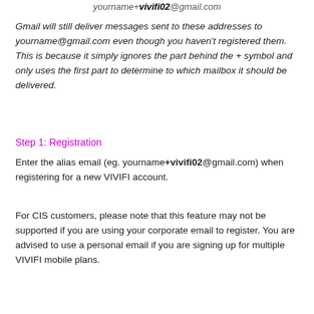yourname+vivifi02@gmail.com
Gmail will still deliver messages sent to these addresses to yourname@gmail.com even though you haven't registered them. This is because it simply ignores the part behind the + symbol and only uses the first part to determine to which mailbox it should be delivered.
Step 1: Registration
Enter the alias email (eg. yourname+vivifi02@gmail.com) when registering for a new VIVIFI account.
For CIS customers, please note that this feature may not be supported if you are using your corporate email to register. You are advised to use a personal email if you are signing up for multiple VIVIFI mobile plans.